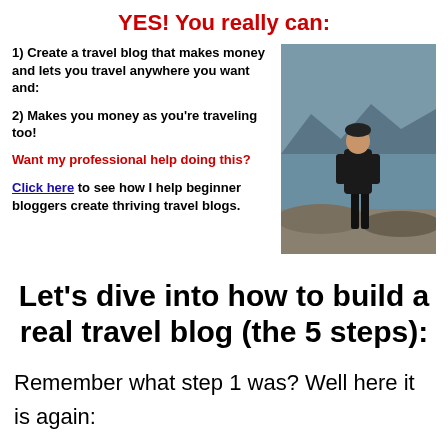YES! You really can:
1) Create a travel blog that makes money and lets you travel anywhere you want and:
2) Makes you money as you're traveling too!
Want my professional help doing this?
Click here to see how I help beginner bloggers create thriving travel blogs.
[Figure (photo): Man standing outdoors by a lake or sea, wearing dark hoodie and black pants, with mountainous or rocky background]
Let's dive into how to build a real travel blog (the 5 steps):
Remember what step 1 was? Well here it is again: